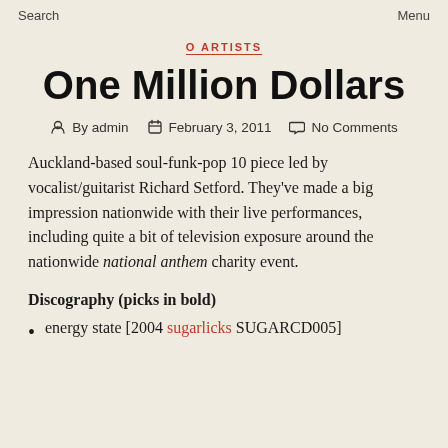Search   Menu
O ARTISTS
One Million Dollars
By admin   February 3, 2011   No Comments
Auckland-based soul-funk-pop 10 piece led by vocalist/guitarist Richard Setford. They've made a big impression nationwide with their live performances, including quite a bit of television exposure around the nationwide national anthem charity event.
Discography (picks in bold)
energy state [2004 sugarlicks SUGARCD005]